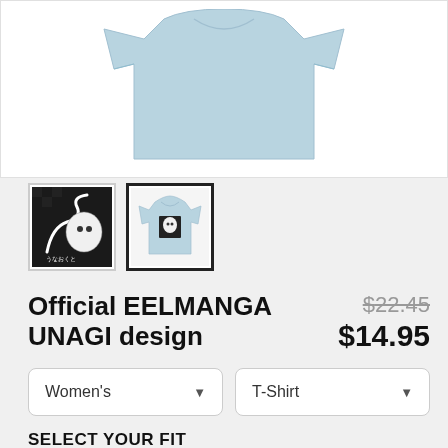[Figure (photo): Light blue women's t-shirt product photo on white background]
[Figure (photo): Thumbnail 1: Black and white anime/manga design graphic with Japanese text]
[Figure (photo): Thumbnail 2: Light blue women's t-shirt with design (selected/active)]
Official EELMANGA UNAGI design
$22.45 (strikethrough original price)
$14.95 (sale price)
Women's (dropdown)
T-Shirt (dropdown)
SELECT YOUR FIT